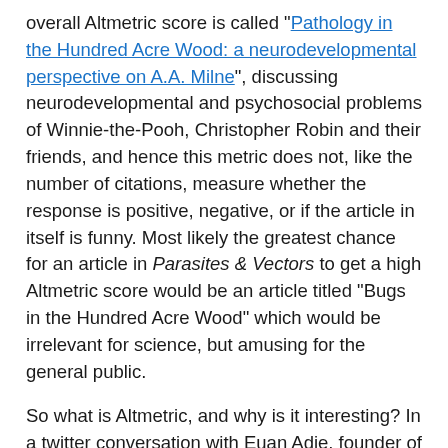overall Altmetric score is called "Pathology in the Hundred Acre Wood: a neurodevelopmental perspective on A.A. Milne", discussing neurodevelopmental and psychosocial problems of Winnie-the-Pooh, Christopher Robin and their friends, and hence this metric does not, like the number of citations, measure whether the response is positive, negative, or if the article in itself is funny. Most likely the greatest chance for an article in Parasites & Vectors to get a high Altmetric score would be an article titled "Bugs in the Hundred Acre Wood" which would be irrelevant for science, but amusing for the general public.
So what is Altmetric, and why is it interesting? In a twitter conversation with Euan Adie, founder of Altmetric.com, he explained that the top 5% is what is interesting from an academic perspective. Currently Parasites & Vectors have very few articles in this range, suggesting that either the